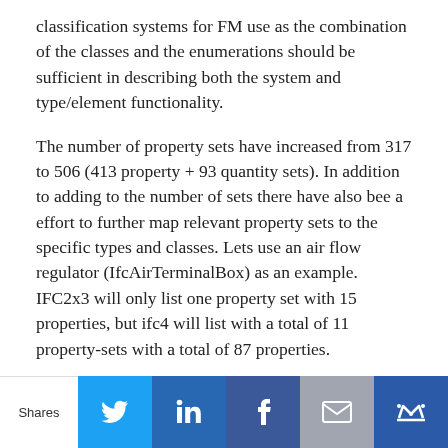classification systems for FM use as the combination of the classes and the enumerations should be sufficient in describing both the system and type/element functionality.
The number of property sets have increased from 317 to 506 (413 property + 93 quantity sets). In addition to adding to the number of sets there have also bee a effort to further map relevant property sets to the specific types and classes. Lets use an air flow regulator (IfcAirTerminalBox) as an example. IFC2x3 will only list one property set with 15 properties, but ifc4 will list with a total of 11 property-sets with a total of 87 properties.
Shares | Twitter | LinkedIn | Facebook | Email | Crown